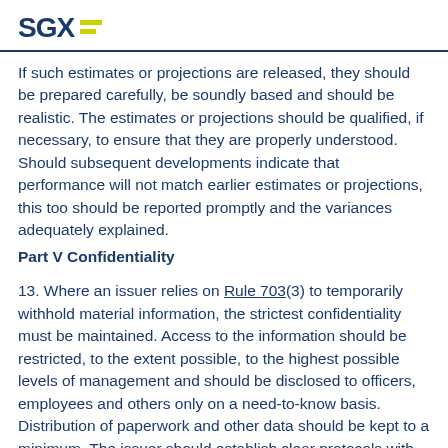SGX
If such estimates or projections are released, they should be prepared carefully, be soundly based and should be realistic. The estimates or projections should be qualified, if necessary, to ensure that they are properly understood. Should subsequent developments indicate that performance will not match earlier estimates or projections, this too should be reported promptly and the variances adequately explained.
Part V Confidentiality
13. Where an issuer relies on Rule 703(3) to temporarily withhold material information, the strictest confidentiality must be maintained. Access to the information should be restricted, to the extent possible, to the highest possible levels of management and should be disclosed to officers, employees and others only on a need-to-know basis. Distribution of paperwork and other data should be kept to a minimum. The issuer should establish clear protocols with its sponsor about